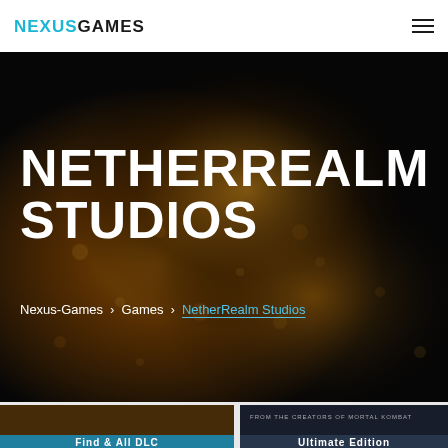NEXUSGAMES
NETHERREALM STUDIOS
Nexus-Games > Games > NetherRealm Studios
[Figure (illustration): Two partial game thumbnail images at the bottom of the page]
[Figure (photo): Hero background image with golden bokeh/fire visual and dark overlay behind NETHERREALM STUDIOS title]